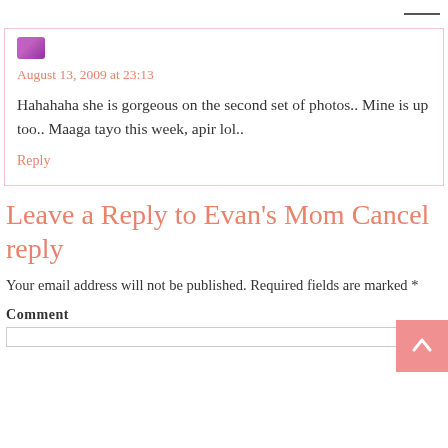August 13, 2009 at 23:13
Hahahaha she is gorgeous on the second set of photos.. Mine is up too.. Maaga tayo this week, apir lol..
Reply
Leave a Reply to Evan's Mom Cancel reply
Your email address will not be published. Required fields are marked *
Comment